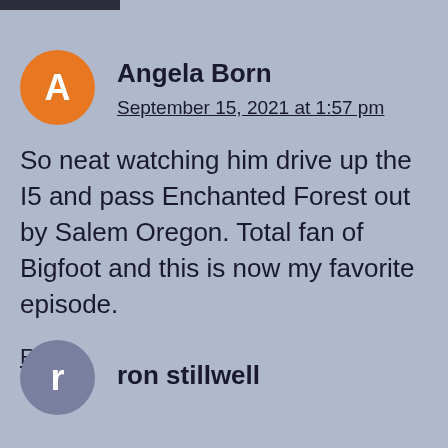Angela Born
September 15, 2021 at 1:57 pm
So neat watching him drive up the I5 and pass Enchanted Forest out by Salem Oregon. Total fan of Bigfoot and this is now my favorite episode.
Reply
ron stillwell